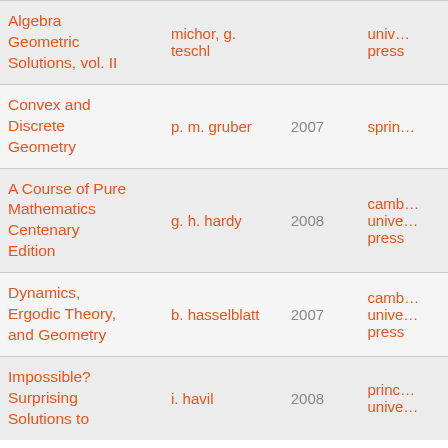| Title | Author | Year | Publisher |
| --- | --- | --- | --- |
| Algebra Geometric Solutions, vol. II | michor, g. teschl |  | univ… press |
| Convex and Discrete Geometry | p. m. gruber | 2007 | sprin… |
| A Course of Pure Mathematics Centenary Edition | g. h. hardy | 2008 | camb… unive… press |
| Dynamics, Ergodic Theory, and Geometry | b. hasselblatt | 2007 | camb… unive… press |
| Impossible? Surprising Solutions to | i. havil | 2008 | princ… unive… |